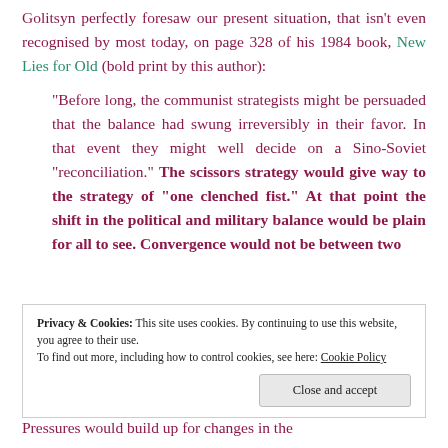Golitsyn perfectly foresaw our present situation, that isn't even recognised by most today, on page 328 of his 1984 book, New Lies for Old (bold print by this author):
“Before long, the communist strategists might be persuaded that the balance had swung irreversibly in their favor. In that event they might well decide on a Sino-Soviet “reconciliation.” The scissors strategy would give way to the strategy of “one clenched fist.” At that point the shift in the political and military balance would be plain for all to see. Convergence would not be between two
Privacy & Cookies: This site uses cookies. By continuing to use this website, you agree to their use.
To find out more, including how to control cookies, see here: Cookie Policy
Pressures would build up for changes in the